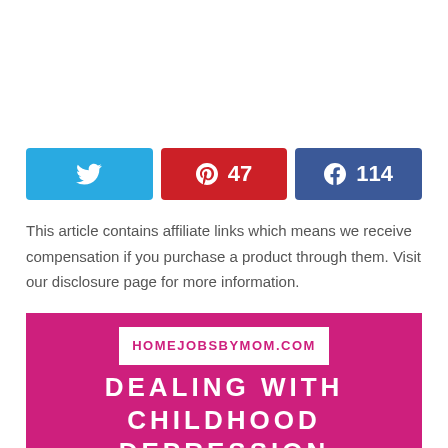[Figure (infographic): Social share buttons: Twitter (blue), Pinterest (red, 47 saves), Facebook (blue, 114 shares)]
This article contains affiliate links which means we receive compensation if you purchase a product through them. Visit our disclosure page for more information.
[Figure (infographic): Pink infographic with white banner showing HOMEJOBSBYMOM.COM and large white bold text: DEALING WITH CHILDHOOD DEPRESSION]